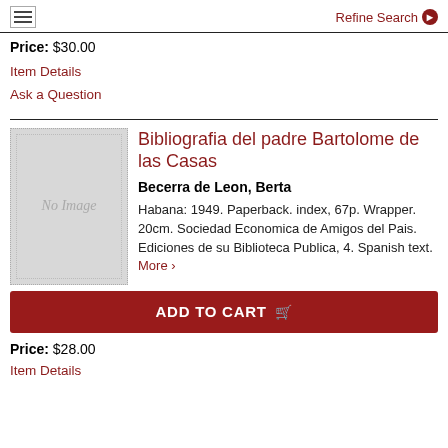Refine Search
Price: $30.00
Item Details
Ask a Question
Bibliografia del padre Bartolome de las Casas
Becerra de Leon, Berta
Habana: 1949. Paperback. index, 67p. Wrapper. 20cm. Sociedad Economica de Amigos del Pais. Ediciones de su Biblioteca Publica, 4. Spanish text. More >
ADD TO CART
Price: $28.00
Item Details